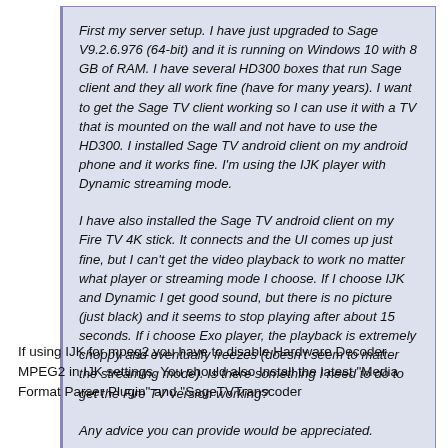First my server setup. I have just upgraded to Sage V9.2.6.976 (64-bit) and it is running on Windows 10 with 8 GB of RAM. I have several HD300 boxes that run Sage client and they all work fine (have for many years). I want to get the Sage TV client working so I can use it with a TV that is mounted on the wall and not have to use the HD300. I installed Sage TV android client on my android phone and it works fine. I'm using the IJK player with Dynamic streaming mode.
I have also installed the Sage TV android client on my Fire TV 4K stick. It connects and the UI comes up just fine, but I can't get the video playback to work no matter what player or streaming mode I choose. If I choose IJK and Dynamic I get good sound, but there is no picture (just black) and it seems to stop playing after about 15 seconds. If i choose Exo player, the playback is extremely choppy and eventually freezes (doesn't seem to matter the streaming mode). Is there something I need to do to get the Fire TV version working?
Any advice you can provide would be appreciated.
If using IJK for mpeg2 you have to disable Hardware Decoder MPEG2 in IJK settings. You should also Install the latest "Media Format Parser Plugin" and "SageTVTranscoder